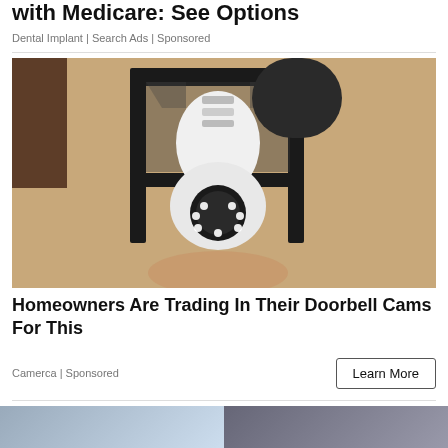with Medicare: See Options
Dental Implant | Search Ads | Sponsored
[Figure (photo): A security camera shaped like a light bulb installed in an outdoor wall lantern fixture mounted on a textured beige stucco wall. A hand is visible holding the camera from below.]
Homeowners Are Trading In Their Doorbell Cams For This
Camerca | Sponsored
Learn More
[Figure (photo): Two partially visible thumbnail images at the bottom of the page.]